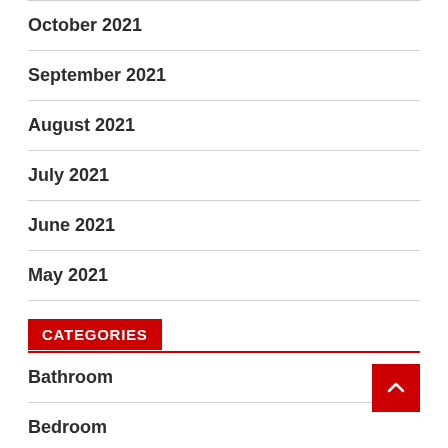October 2021
September 2021
August 2021
July 2021
June 2021
May 2021
CATEGORIES
Bathroom
Bedroom
Garden
Home Design